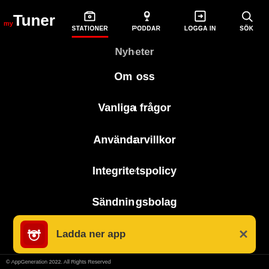[Figure (screenshot): myTuner app navigation bar with logo and icons for STATIONER, PODDAR, LOGGAIN, SÖK]
Nyheter
Om oss
Vanliga frågor
Användarvillkor
Integritetspolicy
Sändningsbolag
Widgets
Appar
Enheter och utrustning
Kontakta oss
[Figure (screenshot): Yellow banner at bottom with radio app icon, text 'Ladda ner app' and close button]
© AppGeneration 2022. All Rights Reserved